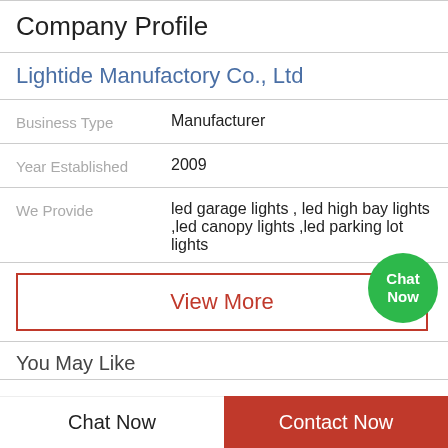Company Profile
Lightide Manufactory Co., Ltd
| Business Type | Manufacturer |
| Year Established | 2009 |
| We Provide | led garage lights , led high bay lights ,led canopy lights ,led parking lot lights |
View More
You May Like
Chat Now | Contact Now